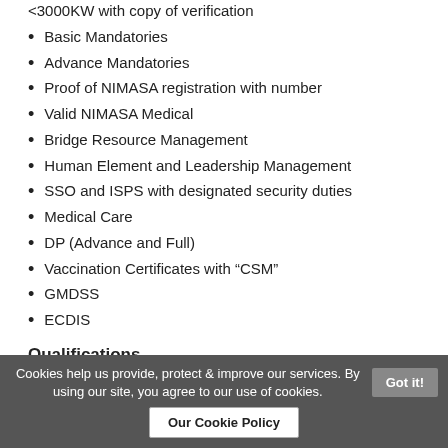<3000KW with copy of verification
Basic Mandatories
Advance Mandatories
Proof of NIMASA registration with number
Valid NIMASA Medical
Bridge Resource Management
Human Element and Leadership Management
SSO and ISPS with designated security duties
Medical Care
DP (Advance and Full)
Vaccination Certificates with “CSM”
GMDSS
ECDIS
Qualifications
Cookies help us provide, protect & improve our services. By using our site, you agree to our use of cookies.
Got it!
Our Cookie Policy